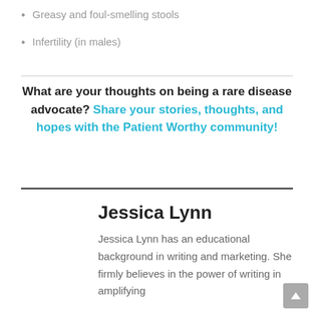Greasy and foul-smelling stools
Infertility (in males)
What are your thoughts on being a rare disease advocate? Share your stories, thoughts, and hopes with the Patient Worthy community!
Jessica Lynn
Jessica Lynn has an educational background in writing and marketing. She firmly believes in the power of writing in amplifying